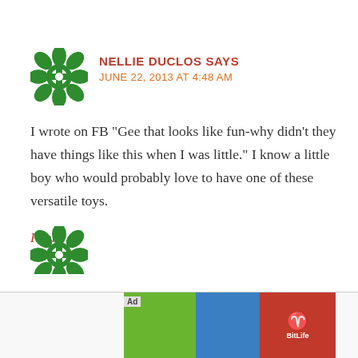[Figure (illustration): Green decorative avatar icon with floral/snowflake geometric pattern]
NELLIE DUCLOS SAYS
JUNE 22, 2013 AT 4:48 AM
I wrote on FB "Gee that looks like fun-why didn't they have things like this when I was little." I know a little boy who would probably love to have one of these versatile toys.
Reply
[Figure (illustration): Partial green decorative avatar icon at bottom of page]
[Figure (screenshot): Advertisement banner for BitLife - Life Simulator app with green and red imagery and Install button]